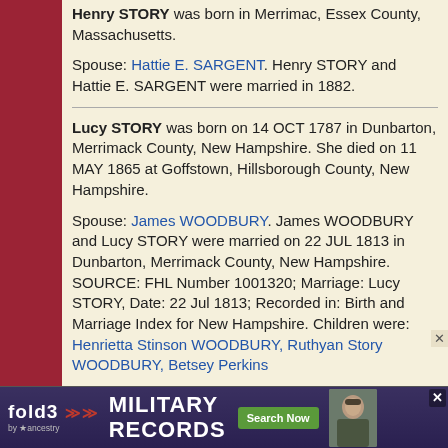Henry STORY was born in Merrimac, Essex County, Massachusetts. Spouse: Hattie E. SARGENT. Henry STORY and Hattie E. SARGENT were married in 1882.
Lucy STORY was born on 14 OCT 1787 in Dunbarton, Merrimack County, New Hampshire. She died on 11 MAY 1865 at Goffstown, Hillsborough County, New Hampshire. Spouse: James WOODBURY. James WOODBURY and Lucy STORY were married on 22 JUL 1813 in Dunbarton, Merrimack County, New Hampshire. SOURCE: FHL Number 1001320; Marriage: Lucy STORY, Date: 22 Jul 1813; Recorded in: Birth and Marriage Index for New Hampshire. Children were: Henrietta Stinson WOODBURY, Ruthyan Story WOODBURY, Betsey Perkins WOODBURY,
[Figure (other): fold3 by Ancestry advertisement for Military Records with Search Now button and soldier photo]